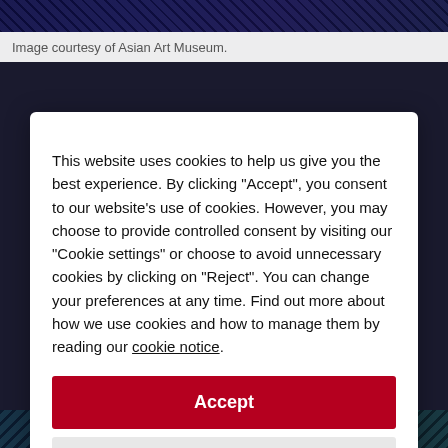[Figure (photo): Colorful artistic image at the top of the page, partially visible, dark blue/purple/green tones]
Image courtesy of Asian Art Museum.
This website uses cookies to help us give you the best experience. By clicking "Accept", you consent to our website's use of cookies. However, you may choose to provide controlled consent by visiting our "Cookie settings" or choose to avoid unnecessary cookies by clicking on "Reject". You can change your preferences at any time. Find out more about how we use cookies and how to manage them by reading our cookie notice.
Accept
Reject
Cookie settings
[Figure (photo): Colorful artistic image at the bottom of the page, partially visible, dark blue/teal/green tones]